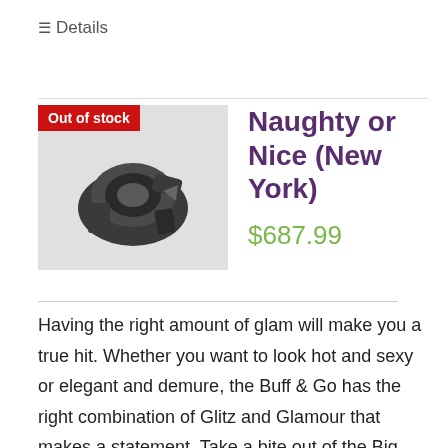Details
Naughty or Nice (New York)
$687.99
Having the right amount of glam will make you a true hit. Whether you want to look hot and sexy or elegant and demure, the Buff & Go has the right combination of Glitz and Glamour that makes a statement. Take a bite out of the Big